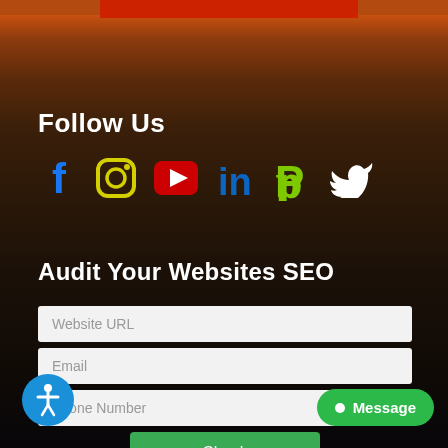[Figure (screenshot): Dark city skyline at sunset background with orange/red sky]
Follow Us
[Figure (infographic): Social media icons: Facebook (blue f), Instagram (yellow/green outline camera), YouTube (red play button), LinkedIn (blue 'in'), Pinterest (green P), Twitter (white bird)]
Audit Your Websites SEO
Website URL
Email
Phone Number
Check
[Figure (infographic): Accessibility icon button (blue circle with white person figure)]
Message